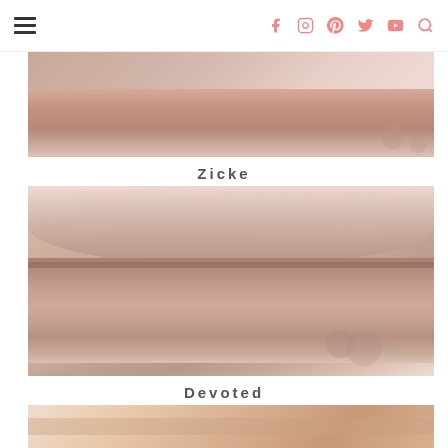Navigation header with hamburger menu and social icons (Facebook, Instagram, Pinterest, Twitter, YouTube, Search)
[Figure (photo): Close-up photo of lips with neutral/light pink lipstick, partially cropped at top]
Zicke
[Figure (photo): Close-up macro photo of lips wearing a muted rose/mauve lipstick shade labeled Zicke, with watermark visible]
Devoted
[Figure (photo): Close-up photo of lips with lipstick shade labeled Devoted, partially visible at bottom of page]